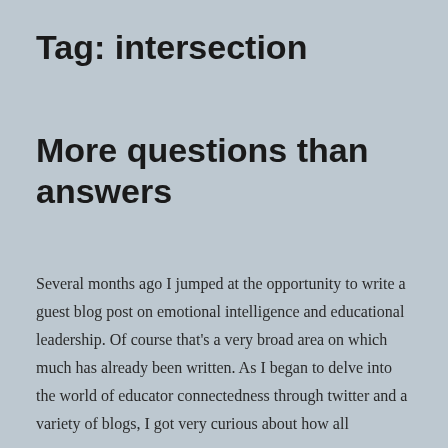Tag: intersection
More questions than answers
Several months ago I jumped at the opportunity to write a guest blog post on emotional intelligence and educational leadership. Of course that's a very broad area on which much has already been written. As I began to delve into the world of educator connectedness through twitter and a variety of blogs, I got very curious about how all